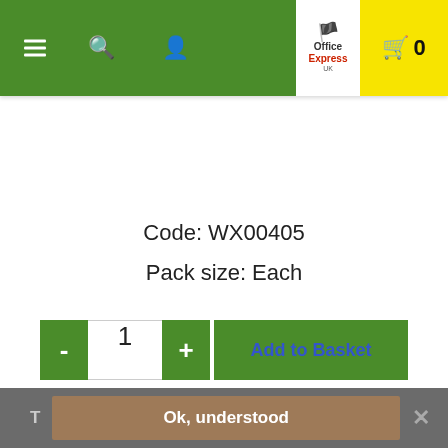[Figure (screenshot): Office Express UK website header with green navigation bar (hamburger menu, search, user icons), Office Express logo in center, yellow shopping cart area showing 0 items]
Code: WX00405
Pack size: Each
[Figure (screenshot): Quantity selector with minus button, quantity input showing 1, plus button, and Add to Basket button in green]
T  Ok, understood  ✕